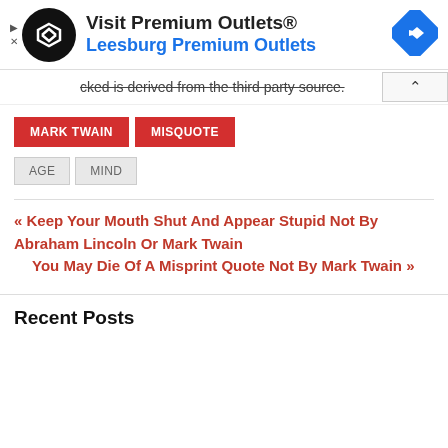[Figure (other): Advertisement banner for Visit Premium Outlets® - Leesburg Premium Outlets with logo and navigation icon]
cked is derived from the third party source.
MARK TWAIN
MISQUOTE
AGE
MIND
« Keep Your Mouth Shut And Appear Stupid Not By Abraham Lincoln Or Mark Twain
You May Die Of A Misprint Quote Not By Mark Twain »
Recent Posts